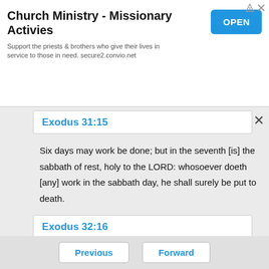[Figure (screenshot): Advertisement banner for Church Ministry - Missionary Activities app with OPEN button]
Exodus 31:15
Six days may work be done; but in the seventh [is] the sabbath of rest, holy to the LORD: whosoever doeth [any] work in the sabbath day, he shall surely be put to death.
Exodus 32:16
And the tables [were] the work of God, and the writing [was] the writing of God, graven upon the tables.
Previous   Forward